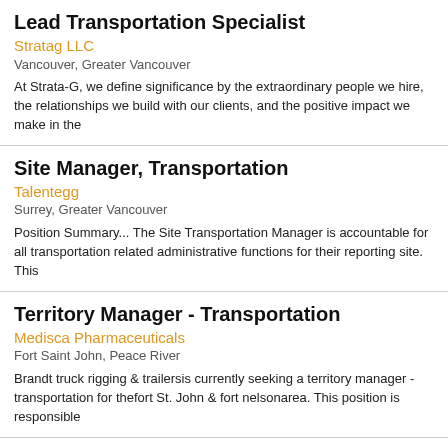Lead Transportation Specialist
Stratag LLC
Vancouver, Greater Vancouver
At Strata-G, we define significance by the extraordinary people we hire, the relationships we build with our clients, and the positive impact we make in the
Site Manager, Transportation
Talentegg
Surrey, Greater Vancouver
Position Summary... The Site Transportation Manager is accountable for all transportation related administrative functions for their reporting site. This
Territory Manager - Transportation
Medisca Pharmaceuticals
Fort Saint John, Peace River
Brandt truck rigging & trailersis currently seeking a territory manager - transportation for thefort St. John & fort nelsonarea. This position is responsible
Territory Manager - Transportation
Medisca Pharmaceuticals
Surrey, Greater Vancouver
Brandt truck rigging & trailersis currently seeking a territory manager - transportation for the Surrey area. This position is responsible for direct sales